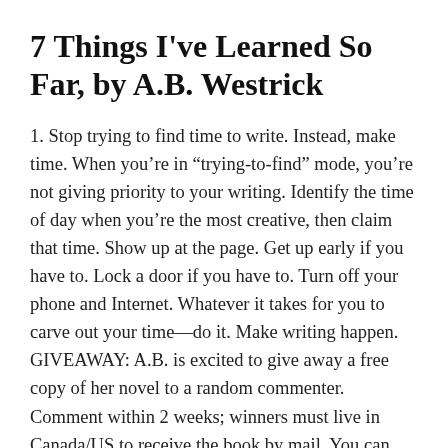7 Things I've Learned So Far, by A.B. Westrick
1. Stop trying to find time to write. Instead, make time. When you’re in “trying-to-find” mode, you’re not giving priority to your writing. Identify the time of day when you’re the most creative, then claim that time. Show up at the page. Get up early if you have to. Lock a door if you have to. Turn off your phone and Internet. Whatever it takes for you to carve out your time—do it. Make writing happen. GIVEAWAY: A.B. is excited to give away a free copy of her novel to a random commenter. Comment within 2 weeks; winners must live in Canada/US to receive the book by mail. You can win a blog